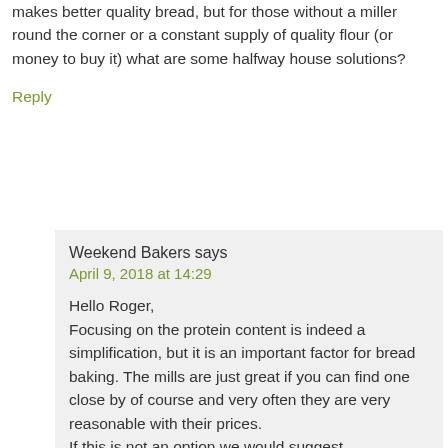makes better quality bread, but for those without a miller round the corner or a constant supply of quality flour (or money to buy it) what are some halfway house solutions?
Reply
Weekend Bakers says
April 9, 2018 at 14:29
Hello Roger, Focusing on the protein content is indeed a simplification, but it is an important factor for bread baking. The mills are just great if you can find one close by of course and very often they are very reasonable with their prices.
If this is not an option we would suggest